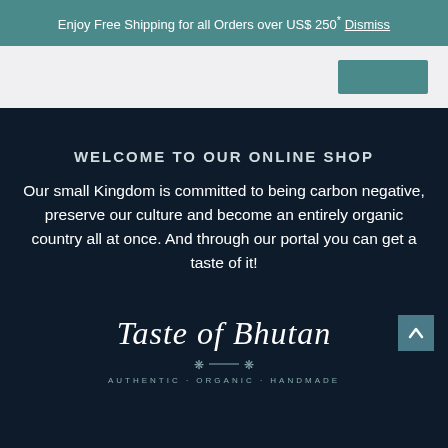Enjoy Free Shipping for all Orders over US$ 250* Dismiss
[Figure (screenshot): Teal navigation button in light gray nav bar area]
WELCOME TO OUR ONLINE SHOP
Our small Kingdom is committed to being carbon negative, preserve our culture and become an entirely organic country all at once. And through our portal you can get a taste of it!
[Figure (logo): Taste of Bhutan logo in script font with decorative divider and subtitle text AUTHENTIC ORGANIC HANDMADE]
[Figure (other): Back to top button (teal square with upward arrow) in bottom right corner]